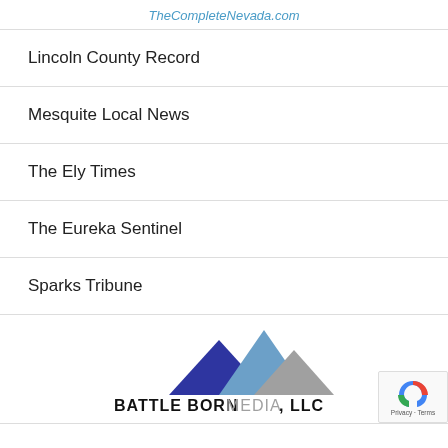TheCompleteNevada.com
Lincoln County Record
Mesquite Local News
The Ely Times
The Eureka Sentinel
Sparks Tribune
[Figure (logo): Battle Born Media, LLC logo with three mountain peaks (dark blue, light blue, gray) above bold text reading BATTLE BORN MEDIA, LLC]